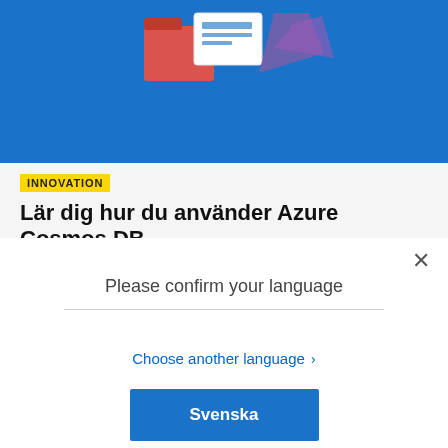[Figure (illustration): Blue banner background with illustrated icons: red folder, envelope, purple shape — Microsoft Azure style illustration]
INNOVATION
Lär dig hur du använder Azure Cosmos DB
För att...
Please confirm your language
Choose another language >
Svenska